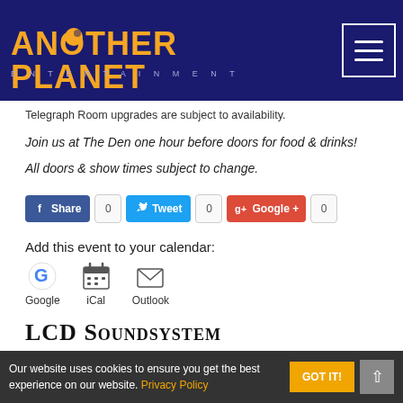Another Planet Entertainment
Telegraph Room upgrades are subject to availability.
Join us at The Den one hour before doors for food & drinks!
All doors & show times subject to change.
[Figure (infographic): Social share buttons: Facebook Share (0), Tweet (0), Google+ (0)]
Add this event to your calendar:
[Figure (infographic): Calendar add options: Google, iCal, Outlook icons]
LCD Soundsystem
Our website uses cookies to ensure you get the best experience on our website. Privacy Policy  GOT IT!